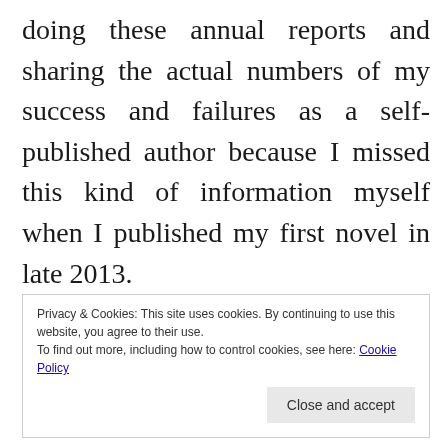doing these annual reports and sharing the actual numbers of my success and failures as a self-published author because I missed this kind of information myself when I published my first novel in late 2013.
I've made a few minor changes this year: I've omitted my photo books from the stats (this was never really about them anyway) and I've decided to no longer
Privacy & Cookies: This site uses cookies. By continuing to use this website, you agree to their use.
To find out more, including how to control cookies, see here: Cookie Policy
[Close and accept]